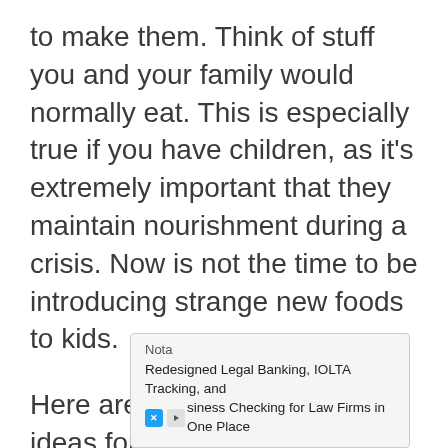to make them. Think of stuff you and your family would normally eat. This is especially true if you have children, as it's extremely important that they maintain nourishment during a crisis. Now is not the time to be introducing strange new foods to kids.
Here are some simple meal ideas for 2 week's worth of shelf stable foods:
The following suggested meals are designed around items you can grab at your local grocery store. You can find organic or natural versions of each of the[se items at your local health food store or] for [a reasonable amount]